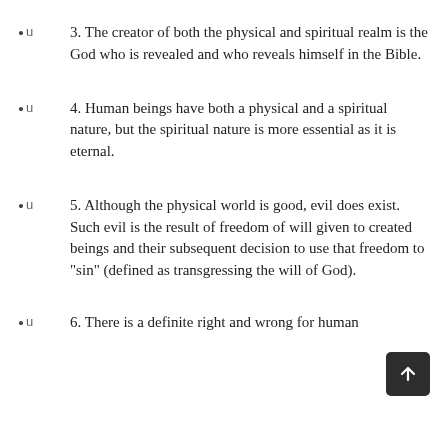3.  The creator of both the physical and spiritual realm is the God who is revealed and who reveals himself in the Bible.
4.  Human beings have both a physical and a spiritual nature, but the spiritual nature is more essential as it is eternal.
5. Although the physical world is good, evil does exist.  Such evil is the result of freedom of will given to created beings and their subsequent decision to use that freedom to "sin" (defined as transgressing the will of God).
6. There is a definite right and wrong for human